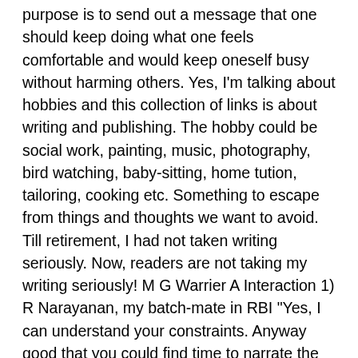purpose is to send out a message that one should keep doing what one feels comfortable and would keep oneself busy without harming others. Yes, I'm talking about hobbies and this collection of links is about writing and publishing. The hobby could be social work, painting, music, photography, bird watching, baby-sitting, home tution, tailoring, cooking etc. Something to escape from things and thoughts we want to avoid. Till retirement, I had not taken writing seriously. Now, readers are not taking my writing seriously! M G Warrier A Interaction 1) R Narayanan, my batch-mate in RBI "Yes, I can understand your constraints. Anyway good that you could find time to narrate the story of your stay at the Cooperative Home, Thiruvananthapuram. The article* has come out nicely and I enjoyed it. Thank you. Incidentally, please consider including in the collage the incident of your scooter lost and got it back with the timely help of the police. Many readers of your column may not have read it earlier. This is only a suggestion of mine." *See B (1) below. {Thanks. See B (4) (a) for Scooter Story. We are now staying in the residential